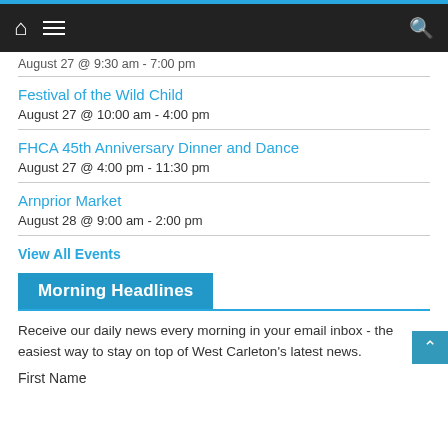Navigation bar with home, menu, and search icons
August 27 @ 9:30 am - 7:00 pm
Festival of the Wild Child
August 27 @ 10:00 am - 4:00 pm
FHCA 45th Anniversary Dinner and Dance
August 27 @ 4:00 pm - 11:30 pm
Arnprior Market
August 28 @ 9:00 am - 2:00 pm
View All Events
Morning Headlines
Receive our daily news every morning in your email inbox - the easiest way to stay on top of West Carleton's latest news.
First Name